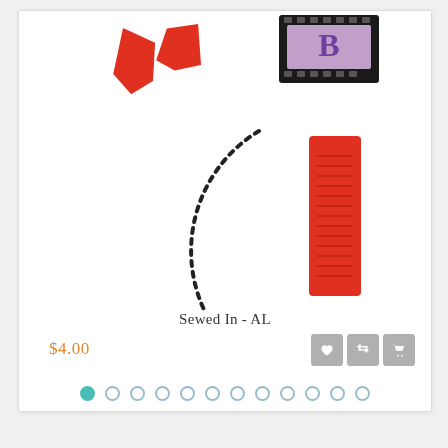[Figure (photo): Product image showing sewing notions: red fabric pieces top left, a black film strip with purple/pink letterform top right, a dashed C-curve/zipper element center left, and a red rectangular label/tag center right, all on white background]
Sewed In - AL
$4.00
[Figure (other): Three action buttons: heart/wishlist icon, compare icon (arrows), and shopping cart icon, all with gray background]